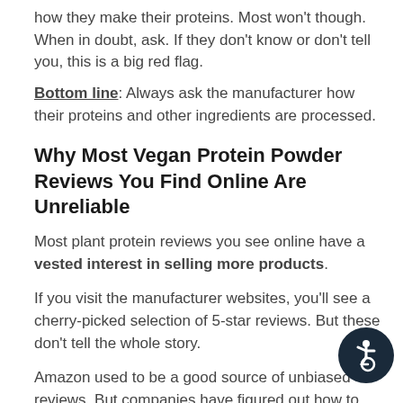how they make their proteins. Most won't though. When in doubt, ask. If they don't know or don't tell you, this is a big red flag.
Bottom line: Always ask the manufacturer how their proteins and other ingredients are processed.
Why Most Vegan Protein Powder Reviews You Find Online Are Unreliable
Most plant protein reviews you see online have a vested interest in selling more products.
If you visit the manufacturer websites, you'll see a cherry-picked selection of 5-star reviews. But these don't tell the whole story.
Amazon used to be a good source of unbiased reviews. But companies have figured out how to manipulate
[Figure (illustration): Accessibility icon: dark navy circular button with white wheelchair user symbol]